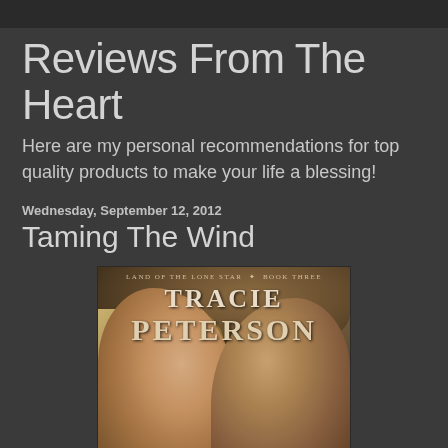Reviews From The Heart
Here are my personal recommendations for top quality products to make your life a blessing!
Wednesday, September 12, 2012
Taming The Wind
[Figure (photo): Book cover of 'Taming The Wind' by Tracie Peterson, Land of the Lone Star Book Three. Shows close-up faces of a young woman with blonde hair and a man wearing a cowboy hat against a warm brown background.]